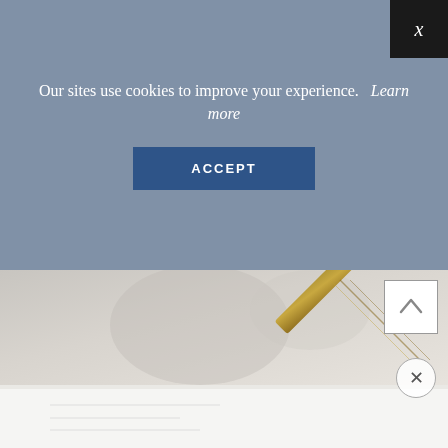Our sites use cookies to improve your experience.   Learn more
ACCEPT
[Figure (photo): Background image showing pen/contract on desk, partially visible through cookie consent overlay and below it]
X
[Figure (other): Scroll-to-top arrow button, square with upward chevron]
[Figure (other): Close ad circular button with X symbol]